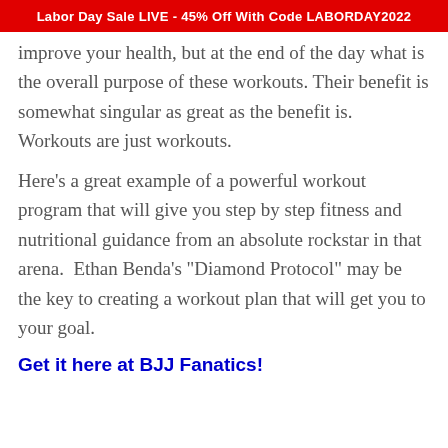Labor Day Sale LIVE - 45% Off With Code LABORDAY2022
improve your health, but at the end of the day what is the overall purpose of these workouts. Their benefit is somewhat singular as great as the benefit is. Workouts are just workouts.
Here's a great example of a powerful workout program that will give you step by step fitness and nutritional guidance from an absolute rockstar in that arena. Ethan Benda's "Diamond Protocol" may be the key to creating a workout plan that will get you to your goal.
Get it here at BJJ Fanatics!